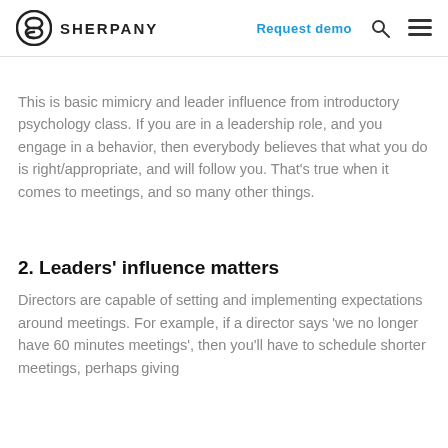SHERPANY | Request demo
This is basic mimicry and leader influence from introductory psychology class. If you are in a leadership role, and you engage in a behavior, then everybody believes that what you do is right/appropriate, and will follow you. That’s true when it comes to meetings, and so many other things.
2. Leaders' influence matters
Directors are capable of setting and implementing expectations around meetings. For example, if a director says ‘we no longer have 60 minutes meetings’, then you’ll have to schedule shorter meetings, perhaps giving